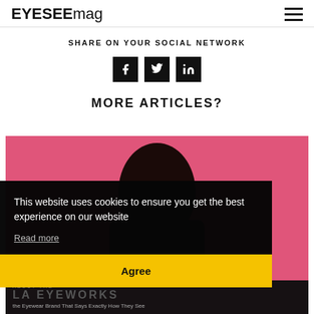EYESEEmag
SHARE ON YOUR SOCIAL NETWORK
[Figure (infographic): Three social media share buttons: Facebook (f), Twitter (bird), LinkedIn (in)]
MORE ARTICLES?
[Figure (photo): Pink background with dark silhouette of a person's head and shoulders, article card for LA Eyeworks]
This website uses cookies to ensure you get the best experience on our website
Read more
Agree
ABOUT THE
LA EYEWORKS
the Eyewear Brand That Says Exactly How They See